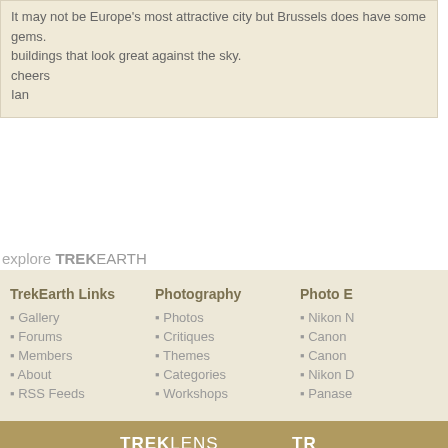It may not be Europe's most attractive city but Brussels does have some gems. buildings that look great against the sky.
cheers
Ian
explore TREKEARTH
TrekEarth Links: Gallery, Forums, Members, About, RSS Feeds
Photography: Photos, Critiques, Themes, Categories, Workshops
Photo E: Nikon, Canon, Canon, Nikon, Panase
Copyright © 2018 MH Sub I, LLC dba Internet Brands. All rights reserved. Advertise | Privacy Po